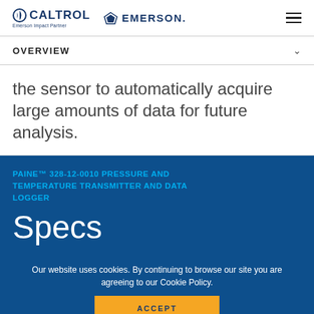CALTROL | Emerson Impact Partner | EMERSON.
OVERVIEW
the sensor to automatically acquire large amounts of data for future analysis.
PAINE™ 328-12-0010 PRESSURE AND TEMPERATURE TRANSMITTER AND DATA LOGGER
Specs
Our website uses cookies. By continuing to browse our site you are agreeing to our Cookie Policy.
ACCEPT